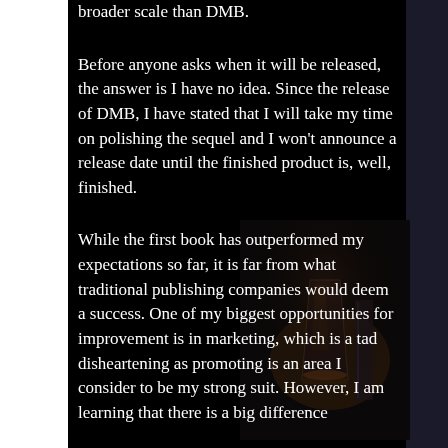broader scale than DMB.
Before anyone asks when it will be released, the answer is I have no idea. Since the release of DMB, I have stated that I will take my time on polishing the sequel and I won't announce a release date until the finished product is, well, finished.
[Figure (photo): Dim background photo of a whisky glass and book, partially visible in the lower right of the text area]
While the first book has outperformed my expectations so far, it is far from what traditional publishing companies would deem a success. One of my biggest opportunities for improvement is in marketing, which is a tad disheartening as promoting is an area I consider to be my strong suit. However, I am learning that there is a big difference